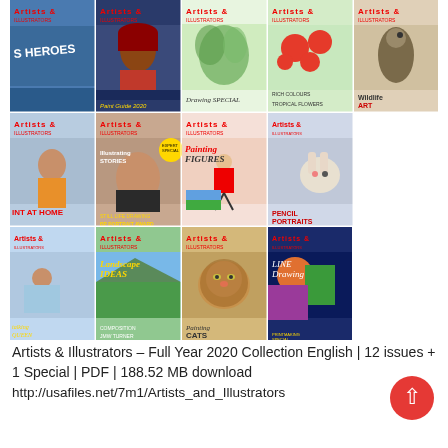[Figure (illustration): Grid of Artists & Illustrators magazine covers for the Full Year 2020 Collection, arranged in 3 rows of 4-5 covers each, showing various painting and illustration themed issues including 'Paint Guide 2020', 'Drawing Special', 'Tropical Flowers', 'Wildlife Art', 'Paint at Home', 'Illustrating Stories', 'Painting Figures', 'Pencil Portraits', 'Talking Queen', 'Landscape Ideas', 'Painting Cats', 'Line Drawing']
Artists & Illustrators – Full Year 2020 Collection English | 12 issues + 1 Special | PDF | 188.52 MB download
http://usafiles.net/7m1/Artists_and_Illustrators